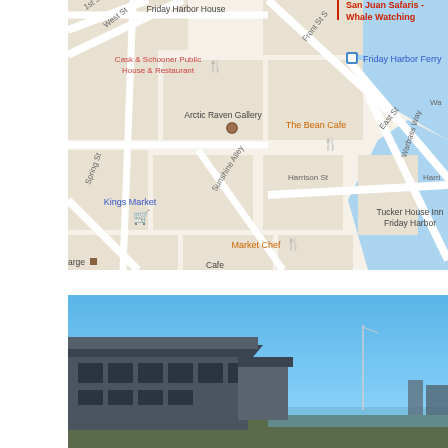[Figure (map): Google Maps screenshot of Friday Harbor, San Juan Island. Shows streets including 1st St, West St, Spring St, Sunshine Alley, Front St S, East St, Warbass Way, Harrison St. Labeled locations include Friday Harbor House, Cask & Schooner Public House & Restaurant (with fork/knife icon), Arctic Raven Gallery, The Bean Cafe (with fork/knife icon), Kings Market (with shopping cart icon), Market Chef (with fork/knife icon), San Juan Safaris - Whale Watching (red pin), Friday Harbor Ferry (blue icon). The right side shows the harbor/water area in blue.]
[Figure (photo): Photograph of a building (likely Friday Harbor facility) with a flat/low-pitched roof, large windows, against a clear blue sky. The building appears to be a modern commercial or government structure near the waterfront.]